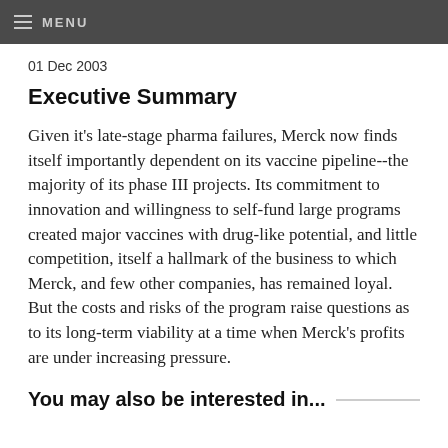MENU
01 Dec 2003
Executive Summary
Given it's late-stage pharma failures, Merck now finds itself importantly dependent on its vaccine pipeline--the majority of its phase III projects. Its commitment to innovation and willingness to self-fund large programs created major vaccines with drug-like potential, and little competition, itself a hallmark of the business to which Merck, and few other companies, has remained loyal. But the costs and risks of the program raise questions as to its long-term viability at a time when Merck's profits are under increasing pressure.
You may also be interested in...